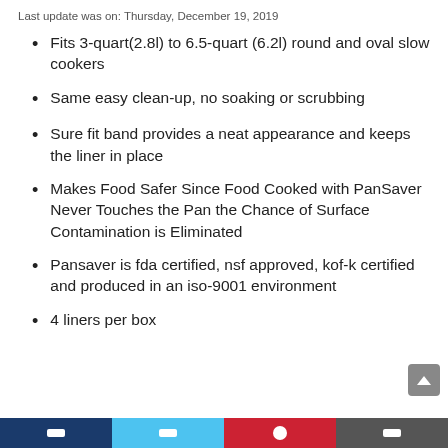Last update was on: Thursday, December 19, 2019
Fits 3-quart(2.8l) to 6.5-quart (6.2l) round and oval slow cookers
Same easy clean-up, no soaking or scrubbing
Sure fit band provides a neat appearance and keeps the liner in place
Makes Food Safer Since Food Cooked with PanSaver Never Touches the Pan the Chance of Surface Contamination is Eliminated
Pansaver is fda certified, nsf approved, kof-k certified and produced in an iso-9001 environment
4 liners per box